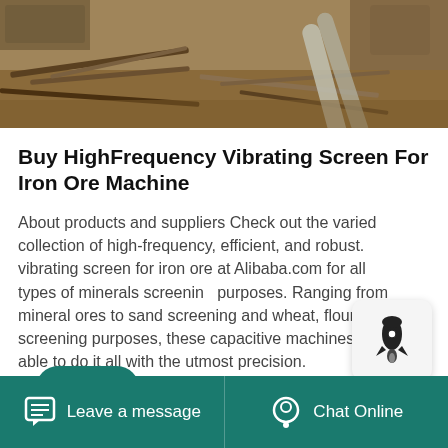[Figure (photo): Construction/industrial site with metal pipes, lumber, and heavy machinery in sandy terrain]
Buy HighFrequency Vibrating Screen For Iron Ore Machine
About products and suppliers Check out the varied collection of high-frequency, efficient, and robust. vibrating screen for iron ore at Alibaba.com for all types of minerals screening purposes. Ranging from mineral ores to sand screening and wheat, flour screening purposes, these capacitive machines are able to do it all with the utmost precision.
Leave a message   Chat Online